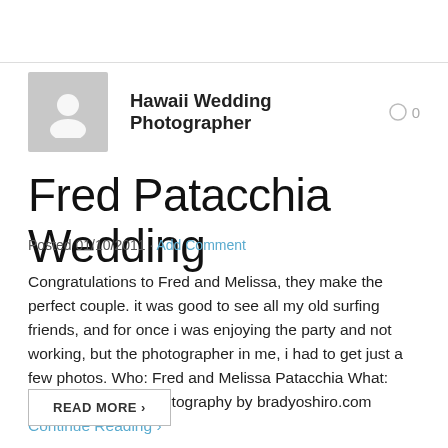Hawaii Wedding Photographer   0
Fred Patacchia Wedding
Posted 01/10/2011 · Add Comment
Congratulations to Fred and Melissa, they make the perfect couple. it was good to see all my old surfing friends, and for once i was enjoying the party and not working, but the photographer in me, i had to get just a few photos. Who: Fred and Melissa Patacchia What: Hawaii Wedding Photography by bradyoshiro.com
Continue Reading ›
READ MORE ›